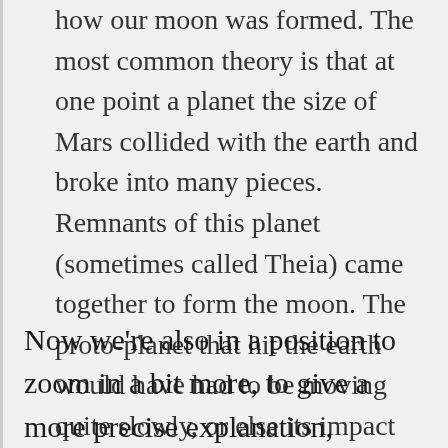how our moon was formed. The most common theory is that at one point a planet the size of Mars collided with the earth and broke into many pieces. Remnants of this planet (sometimes called Theia) came together to form the moon. The proto-planet that hit the earth would have had to be moving quite slowly, or else its impact would have exceeded the binding energy of the earth.
Now we're also in a position to zoom in a bit more, to give a more precise explanation,